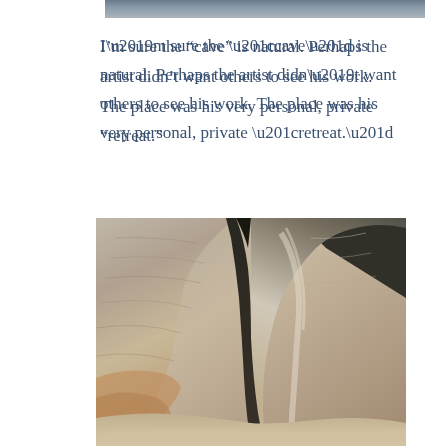[Figure (photo): Partial view of a rock formation or cave entrance, cropped at top of page]
I’m sure the “cave” is natural. Perhaps the artist didn’t want others to see his work. The place was his very personal, private “retreat.”
[Figure (photo): Close-up photograph of large layered rock slabs forming a narrow crevice or cave entrance, with sandy ground at the bottom]